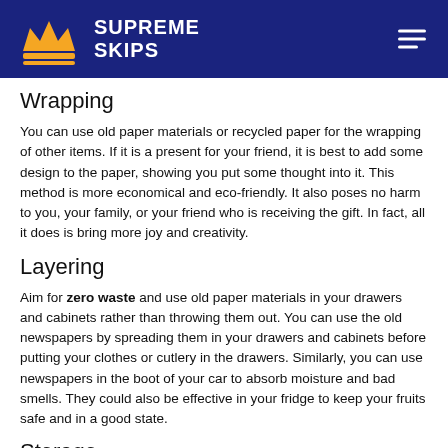Supreme Skips
Wrapping
You can use old paper materials or recycled paper for the wrapping of other items. If it is a present for your friend, it is best to add some design to the paper, showing you put some thought into it. This method is more economical and eco-friendly. It also poses no harm to you, your family, or your friend who is receiving the gift. In fact, all it does is bring more joy and creativity.
Layering
Aim for zero waste and use old paper materials in your drawers and cabinets rather than throwing them out. You can use the old newspapers by spreading them in your drawers and cabinets before putting your clothes or cutlery in the drawers. Similarly, you can use newspapers in the boot of your car to absorb moisture and bad smells. They could also be effective in your fridge to keep your fruits safe and in a good state.
Storage